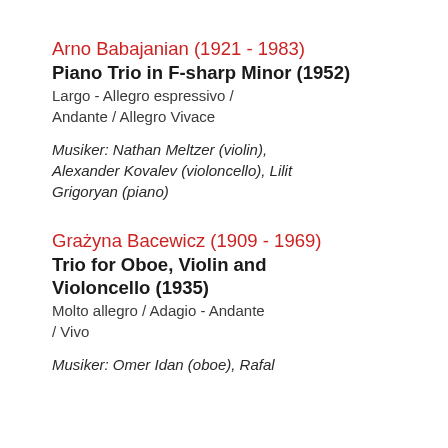Arno Babajanian (1921 - 1983)
Piano Trio in F-sharp Minor (1952)
Largo - Allegro espressivo / Andante / Allegro Vivace
Musiker: Nathan Meltzer (violin), Alexander Kovalev (violoncello), Lilit Grigoryan (piano)
Grażyna Bacewicz (1909 - 1969)
Trio for Oboe, Violin and Violoncello (1935)
Molto allegro / Adagio - Andante / Vivo
Musiker: Omer Idan (oboe), Rafal